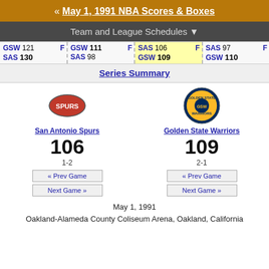« May 1, 1991 NBA Scores & Boxes
Team and League Schedules ▼
| GSW 121 F | GSW 111 F | SAS 106 F | SAS 97 F |
| SAS 130 | SAS 98 | GSW 109 | GSW 110 |
Series Summary
[Figure (logo): San Antonio Spurs logo]
San Antonio Spurs
106
1-2
[Figure (logo): Golden State Warriors logo]
Golden State Warriors
109
2-1
« Prev Game
Next Game »
« Prev Game
Next Game »
May 1, 1991
Oakland-Alameda County Coliseum Arena, Oakland, California